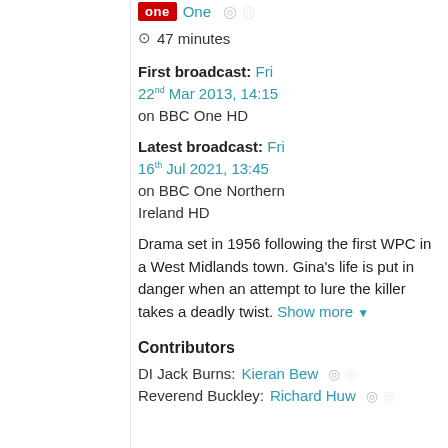[Figure (logo): BBC One logo (red rectangle with 'one' text) followed by 'One' text in teal]
47 minutes
First broadcast: Fri 22nd Mar 2013, 14:15 on BBC One HD
Latest broadcast: Fri 16th Jul 2021, 13:45 on BBC One Northern Ireland HD
Drama set in 1956 following the first WPC in a West Midlands town. Gina's life is put in danger when an attempt to lure the killer takes a deadly twist. Show more
Contributors
DI Jack Burns: Kieran Bew
Reverend Buckley: Richard Huw